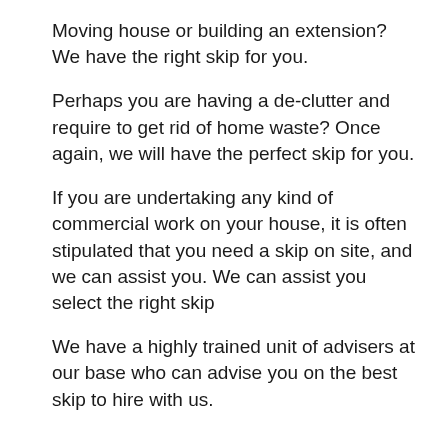Moving house or building an extension? We have the right skip for you.
Perhaps you are having a de-clutter and require to get rid of home waste? Once again, we will have the perfect skip for you.
If you are undertaking any kind of commercial work on your house, it is often stipulated that you need a skip on site, and we can assist you. We can assist you select the right skip
We have a highly trained unit of advisers at our base who can advise you on the best skip to hire with us.